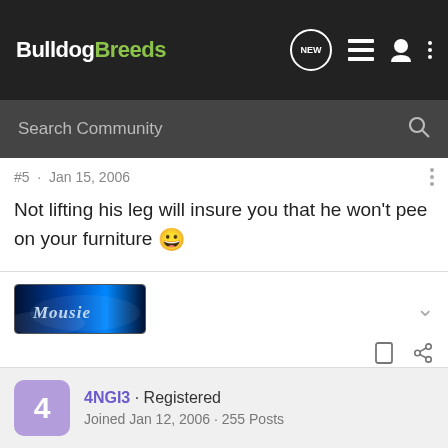BulldogBreeds — navigation bar with search
#5 · Jan 15, 2006
Not lifting his leg will insure you that he won't pee on your furniture 😀
[Figure (illustration): User avatar banner image with blue gradient background and stylized text 'Mousie']
4NGI3 · Registered
Joined Jan 12, 2006 · 255 Posts